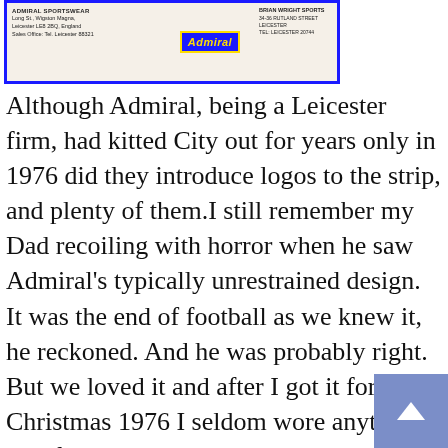[Figure (photo): Admiral Sportswear advertisement banner with yellow-bordered blue Admiral logo on cream background, flanked by small printed text on left (Admiral Sportswear address, Long St., Wigston Magna, Leicester) and right (Brian Wright Sports, 34-36 Rutland Street, Leicester).]
Although Admiral, being a Leicester firm, had kitted City out for years only in 1976 did they introduce logos to the strip, and plenty of them.I still remember my Dad recoiling with horror when he saw Admiral's typically unrestrained design. It was the end of football as we knew it, he reckoned. And he was probably right. But we loved it and after I got it for Christmas 1976 I seldom wore anything else for years.

Eventually, adidas and Umbro and French firm Le Coq Sportif caught up with and overtook the pioneering Admiral. They lost the England contract to Umbro in the early eighties and then went bust. Although the logo has often re-emerged over the years Admiral have